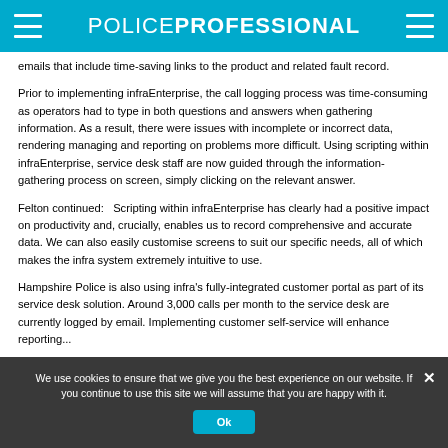POLICE PROFESSIONAL
emails that include time-saving links to the product and related fault record.
Prior to implementing infraEnterprise, the call logging process was time-consuming as operators had to type in both questions and answers when gathering information. As a result, there were issues with incomplete or incorrect data, rendering managing and reporting on problems more difficult. Using scripting within infraEnterprise, service desk staff are now guided through the information-gathering process on screen, simply clicking on the relevant answer.
Felton continued:   Scripting within infraEnterprise has clearly had a positive impact on productivity and, crucially, enables us to record comprehensive and accurate data. We can also easily customise screens to suit our specific needs, all of which makes the infra system extremely intuitive to use.
Hampshire Police is also using infra's fully-integrated customer portal as part of its service desk solution. Around 3,000 calls per month to the service desk are currently logged by email. Implementing customer self-service will enhance reporting...